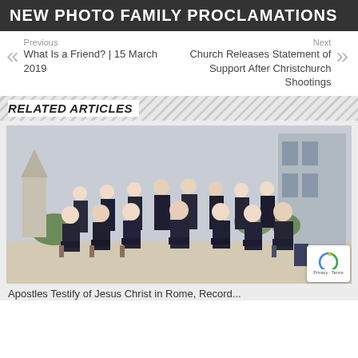NEW PHOTO FAMILY PROCLAMATIONS
Previous
What Is a Friend? | 15 March 2019
Next
Church Releases Statement of Support After Christchurch Shootings
RELATED ARTICLES
[Figure (photo): Group photo of men in dark suits seated and standing outdoors near a building, likely LDS apostles or church leaders in Rome.]
Apostles Testify of Jesus Christ in Rome, Record...